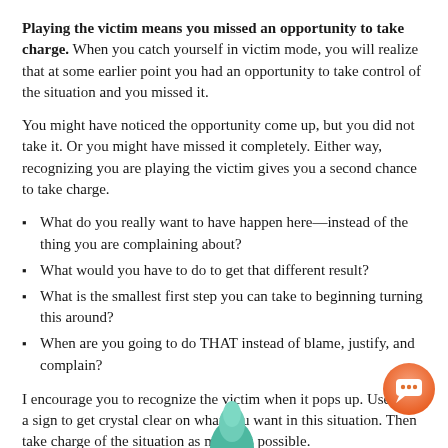Playing the victim means you missed an opportunity to take charge. When you catch yourself in victim mode, you will realize that at some earlier point you had an opportunity to take control of the situation and you missed it.
You might have noticed the opportunity come up, but you did not take it. Or you might have missed it completely. Either way, recognizing you are playing the victim gives you a second chance to take charge.
What do you really want to have happen here—instead of the thing you are complaining about?
What would you have to do to get that different result?
What is the smallest first step you can take to beginning turning this around?
When are you going to do THAT instead of blame, justify, and complain?
I encourage you to recognize the victim when it pops up. Use it as a sign to get crystal clear on what you want in this situation. Then take charge of the situation as much as possible.
c) Pray For a Magic Pill